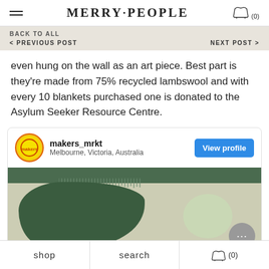MERRY·PEOPLE (0)
BACK TO ALL
< PREVIOUS POST
NEXT POST >
even hung on the wall as an art piece. Best part is they're made from 75% recycled lambswool and with every 10 blankets purchased one is donated to the Asylum Seeker Resource Centre.
[Figure (screenshot): Instagram embed card for makers_mrkt account from Melbourne, Victoria, Australia with 'View profile' button and image of a decorative green lambswool blanket with abstract shapes.]
shop   search   (0)